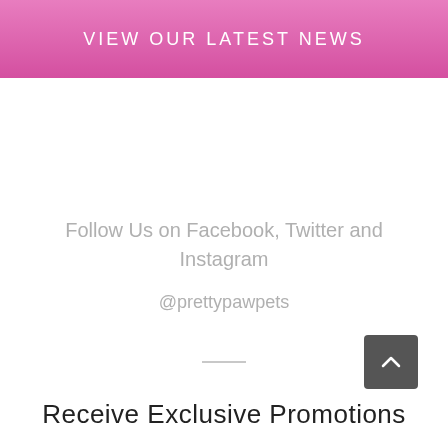VIEW OUR LATEST NEWS
Follow Us on Facebook, Twitter and Instagram
@prettypawpets
Receive Exclusive Promotions